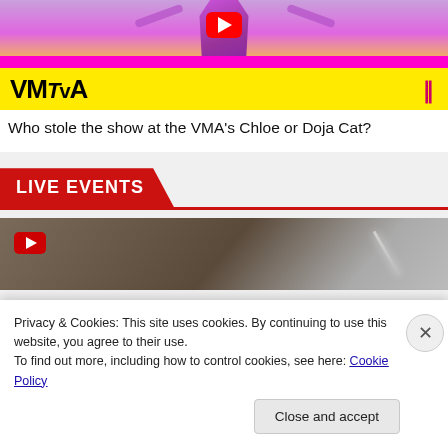[Figure (screenshot): MTV VMAs promotional thumbnail with YouTube play button, performer in purple outfit, yellow MTV VMA logo banner]
Who stole the show at the VMA's Chloe or Doja Cat?
LIVE EVENTS
[Figure (screenshot): Live event video thumbnail with YouTube play button, dark atmospheric background with streak of light]
Privacy & Cookies: This site uses cookies. By continuing to use this website, you agree to their use.
To find out more, including how to control cookies, see here: Cookie Policy
Close and accept